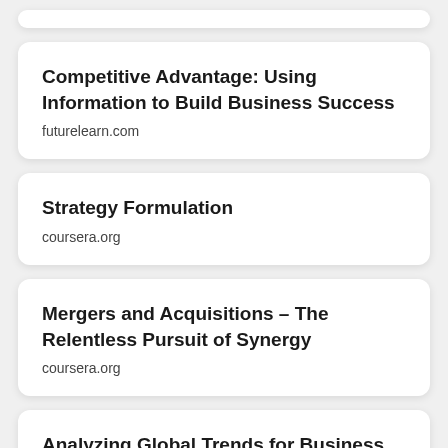Competitive Advantage: Using Information to Build Business Success
futurelearn.com
Strategy Formulation
coursera.org
Mergers and Acquisitions – The Relentless Pursuit of Synergy
coursera.org
Analyzing Global Trends for Business and